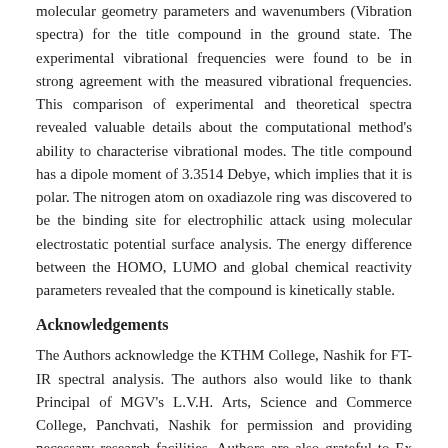molecular geometry parameters and wavenumbers (Vibration spectra) for the title compound in the ground state. The experimental vibrational frequencies were found to be in strong agreement with the measured vibrational frequencies. This comparison of experimental and theoretical spectra revealed valuable details about the computational method's ability to characterise vibrational modes. The title compound has a dipole moment of 3.3514 Debye, which implies that it is polar. The nitrogen atom on oxadiazole ring was discovered to be the binding site for electrophilic attack using molecular electrostatic potential surface analysis. The energy difference between the HOMO, LUMO and global chemical reactivity parameters revealed that the compound is kinetically stable.
Acknowledgements
The Authors acknowledge the KTHM College, Nashik for FT-IR spectral analysis. The authors also would like to thank Principal of MGV's L.V.H. Arts, Science and Commerce College, Panchvati, Nashik for permission and providing necessary research facilities. Authors are also grateful to Ex Professor Dr. A. B. Sawant for Gaussian study. Dr. Aapoorva Prashant Hiray, Coordinator, MG Vidyamandir Institute, is gratefully acknowledged for